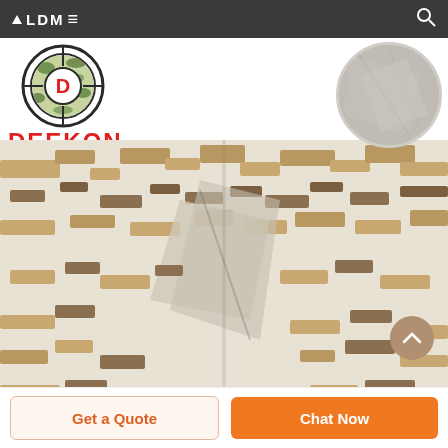ALDME (navigation bar with logo and search icon)
[Figure (logo): Deekon brand logo: circular target/crosshair icon with green camouflage pattern and red D letter in center, with red bold text DEEKON below]
[Figure (photo): Close-up circular inset photo of grey/light fabric texture showing the reverse/inner side of the camouflage fabric]
[Figure (photo): Main product photo of digital desert camouflage fabric folded/twisted, showing white base with tan/khaki and brown pixel camouflage pattern (MARPAT desert style)]
Get a Quote
Chat Now